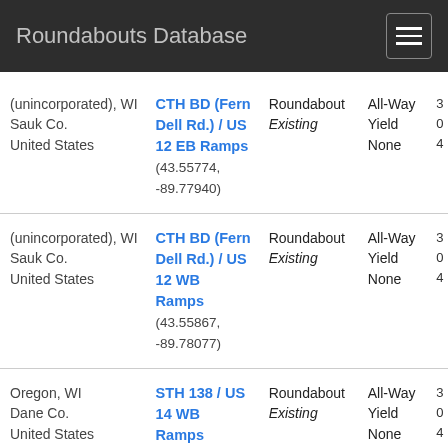Roundabouts Database
| Location | Intersection | Type / Status | Control | Num |
| --- | --- | --- | --- | --- |
| (unincorporated), WI
Sauk Co.
United States | CTH BD (Fern Dell Rd.) / US 12 EB Ramps
(43.55774, -89.77940) | Roundabout
Existing | All-Way Yield
None | 3
0
4 |
| (unincorporated), WI
Sauk Co.
United States | CTH BD (Fern Dell Rd.) / US 12 WB Ramps
(43.55867, -89.78077) | Roundabout
Existing | All-Way Yield
None | 3
0
4 |
| Oregon, WI
Dane Co.
United States | STH 138 / US 14 WB Ramps
(42.91764, | Roundabout
Existing | All-Way Yield
None | 3
0
4 |